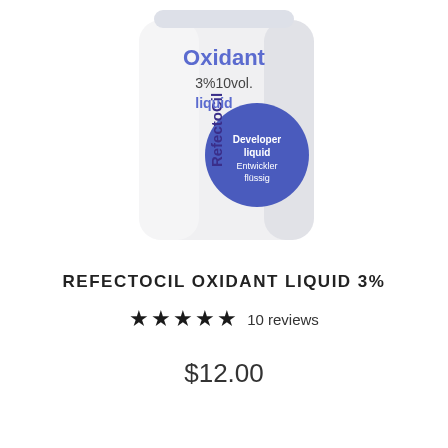[Figure (photo): RefectoCil Oxidant 3% 10vol. liquid developer bottle, white cylindrical container with blue/purple label showing 'RefectoCil Oxidant 3% 10vol. liquid' text and blue circle with 'Developer liquid / Entwickler flüssig' text]
REFECTOCIL OXIDANT LIQUID 3%
★★★★★ 10 reviews
$12.00